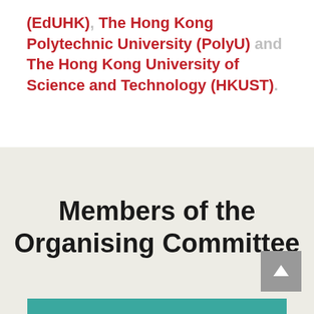(EdUHK), The Hong Kong Polytechnic University (PolyU) and The Hong Kong University of Science and Technology (HKUST).
Members of the Organising Committee